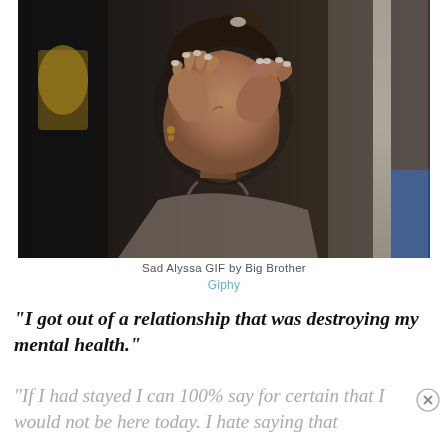[Figure (photo): A young woman with dark hair in a ponytail, covering her face with both hands, appearing to cry or be distressed. She is wearing a grey tank top. The background is a dimly lit room. Screenshot from Big Brother TV show.]
Sad Alyssa GIF by Big Brother
Giphy
"I got out of a relationship that was destroying my mental health."
"If I had stayed I can 100% say for certain that I would not be here today. I hate saying that